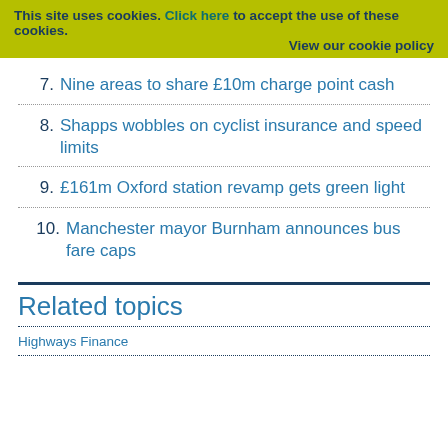This site uses cookies. Click here to accept the use of these cookies. View our cookie policy
7. Nine areas to share £10m charge point cash
8. Shapps wobbles on cyclist insurance and speed limits
9. £161m Oxford station revamp gets green light
10. Manchester mayor Burnham announces bus fare caps
Related topics
Highways Finance